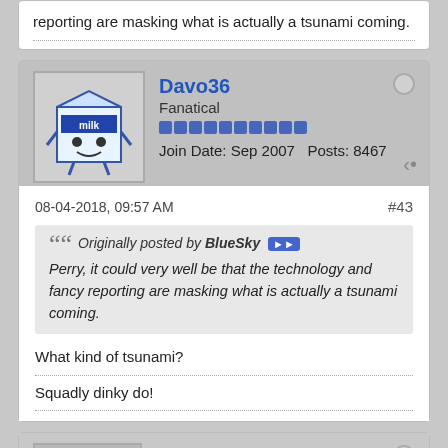reporting are masking what is actually a tsunami coming.
Davo36
Fanatical
Join Date: Sep 2007  Posts: 8467
08-04-2018, 09:57 AM   #43
Originally posted by BlueSky
Perry, it could very well be that the technology and fancy reporting are masking what is actually a tsunami coming.
What kind of tsunami?
Squadly dinky do!
Chris W
Forum Junkie